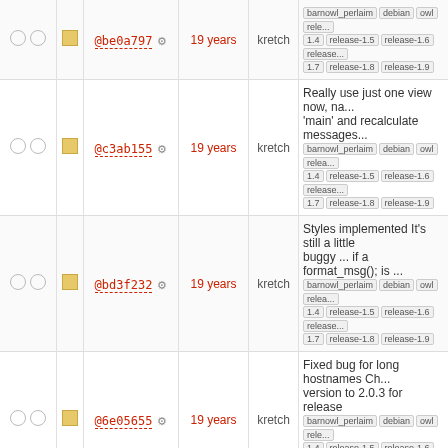|  |  | hash | age | author | message |
| --- | --- | --- | --- | --- | --- |
| ○ ○ | ■ | @be0a797 ⚙ | 19 years | kretch | barnowl_perlaim debian owl rele... 1.4 release-1.5 release-1.6 release... 1.7 release-1.8 release-1.9 |
| ○ ○ | ■ | @c3ab155 ⚙ | 19 years | kretch | Really use just one view now, na... 'main' and recalculate messages... barnowl_perlaim debian owl relea... 1.4 release-1.5 release-1.6 release... 1.7 release-1.8 release-1.9 |
| ○ ○ | ■ | @bd3f232 ⚙ | 19 years | kretch | Styles implemented It's still a little buggy ... if a format_msg(); is ... barnowl_perlaim debian owl relea... 1.4 release-1.5 release-1.6 release... 1.7 release-1.8 release-1.9 |
| ○ ○ | ■ | @6e05655 ⚙ | 19 years | kretch | Fixed bug for long hostnames Ch... version to 2.0.3 for release barnowl_perlaim debian owl rele... 1.4 release-1.5 release-1.6 release... 1.7 release-1.8 release-1.9 |
| ○ ○ | ■ | @b2b0773 ⚙ | 19 years | kretch | Changes to help build on OSX barnowl_perlaim debian owl rele... 1.4 release-1.5 release-1.6 release... 1.7 release-1.8 release-1.9 |
| ○ ○ | ■ | @dafd919 ⚙ | 19 years | kretch | Don't ring the terminal bell on ma... messages. Nuke <FONT> barnowl_perlaim debian owl relea... 1.4 release-1.5 release-1.6 release... 1.7 release-1.8 release-1.9 |
| ○ ○ | ■ | @22fcd366 ⚙ | 19 years | kretch | Changed version to 2.0.2 barnowl_perlaim debian owl rele... 1.4 release-1.5 release-1.6 release... 1.7 release-1.8 release-1.9 |
| ○ ○ | ■ | @378fa14 ⚙ | 19 years | kretch | Fixed bug in 'startup' command barnowl_perlaim debian owl rele... |